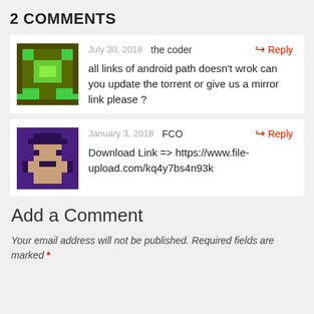2 COMMENTS
July 30, 2018  the coder
all links of android path doesn't wrok can you update the torrent or give us a mirror link please ?
January 3, 2018  FCO
Download Link => https://www.file-upload.com/kq4y7bs4n93k
Add a Comment
Your email address will not be published. Required fields are marked *